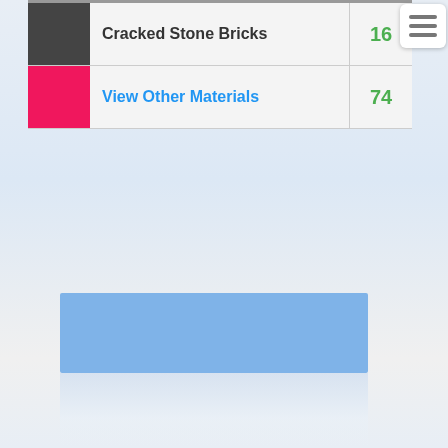| Swatch | Name | Count |
| --- | --- | --- |
| [dark gray] | Cracked Stone Bricks | 16 |
| [hot pink] | View Other Materials | 74 |
[Figure (other): Hamburger menu icon with three horizontal lines]
[Figure (other): Blue rectangular banner/advertisement area at bottom of page]